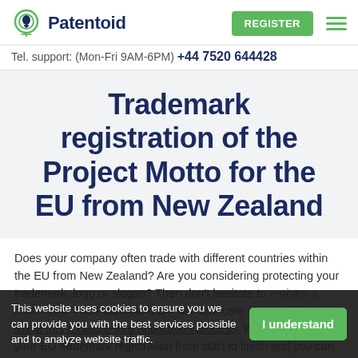Patentoid | REGISTER | Tel. support: (Mon-Fri 9AM-6PM) +44 7520 644428
Trademark registration of the Project Motto for the EU from New Zealand
Does your company often trade with different countries within the EU from New Zealand? Are you considering protecting your trademark, logo or slogan? Then don't hesitate to register a trademark. The Patentoid team will take care of everything to make this a hassle-free application process. We will take care of your EU trademark registration from start to finish and you can follow everything online from the comfort of your home. All you
This website uses cookies to ensure we can provide you with the best services possible and to analyze website traffic.